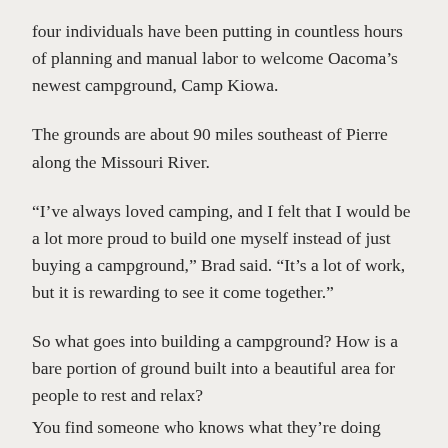four individuals have been putting in countless hours of planning and manual labor to welcome Oacoma’s newest campground, Camp Kiowa.
The grounds are about 90 miles southeast of Pierre along the Missouri River.
“I’ve always loved camping, and I felt that I would be a lot more proud to build one myself instead of just buying a campground,” Brad said. “It’s a lot of work, but it is rewarding to see it come together.”
So what goes into building a campground? How is a bare portion of ground built into a beautiful area for people to rest and relax?
You find someone who knows what they’re doing first.
Before the Power…